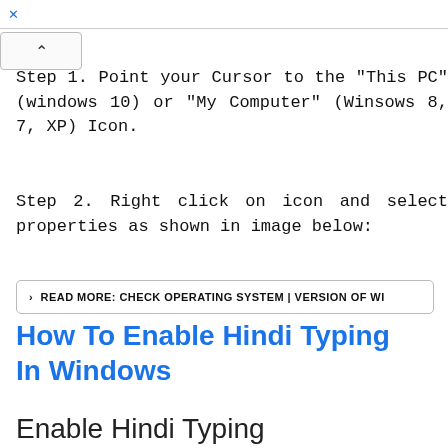Step 1. Point your Cursor to the "This PC" (windows 10) or "My Computer" (Winsows 8, 7, XP) Icon.
Step 2. Right click on icon and select properties as shown in image below:
> READ MORE: CHECK OPERATING SYSTEM | VERSION OF WI
How To Enable Hindi Typing In Windows
Enable Hindi Typing